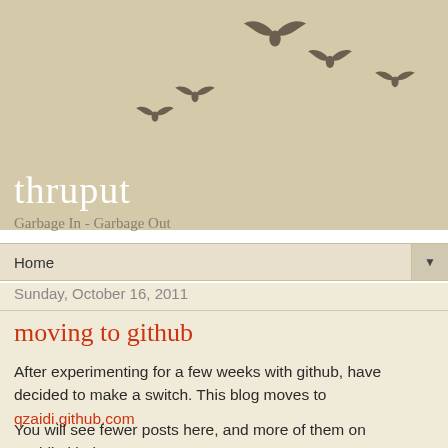[Figure (illustration): Decorative blog header showing flying bird silhouettes (5 birds) in dark brownish-grey on a tan/beige background, arranged in an arc pattern across the top of the page.]
thruput
Garbage In - Garbage Out
Home
Sunday, October 16, 2011
moving to github
After experimenting for a few weeks with github, have decided to make a switch. This blog moves to qzaidi.github.com
You will see fewer posts here, and more of them on qzaidi.github.com.